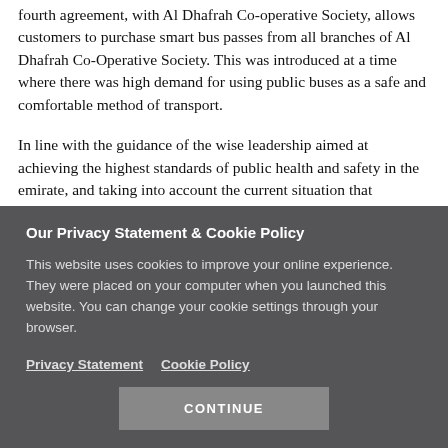fourth agreement, with Al Dhafrah Co-operative Society, allows customers to purchase smart bus passes from all branches of Al Dhafrah Co-Operative Society. This was introduced at a time where there was high demand for using public buses as a safe and comfortable method of transport.
In line with the guidance of the wise leadership aimed at achieving the highest standards of public health and safety in the emirate, and taking into account the current situation that
Our Privacy Statement & Cookie Policy
This website uses cookies to improve your online experience. They were placed on your computer when you launched this website. You can change your cookie settings through your browser.
Privacy Statement   Cookie Policy
CONTINUE